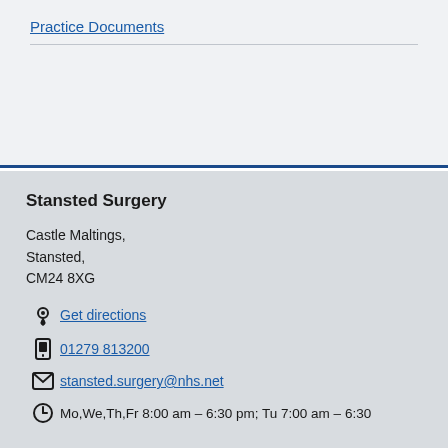Practice Documents
Stansted Surgery
Castle Maltings,
Stansted,
CM24 8XG
Get directions
01279 813200
stansted.surgery@nhs.net
Mo,We,Th,Fr 8:00 am – 6:30 pm; Tu 7:00 am – 6:30